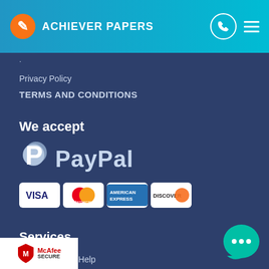ACHIEVER PAPERS
Privacy Policy
TERMS AND CONDITIONS
We accept
[Figure (logo): PayPal logo with P symbol and text PayPal in silver/white]
[Figure (other): Payment card logos: VISA, Mastercard, American Express, Discover]
Services
Speech Writing Help
resentation Assignment Help
[Figure (logo): McAfee SECURE badge]
[Figure (other): Teal chat bubble with three dots]